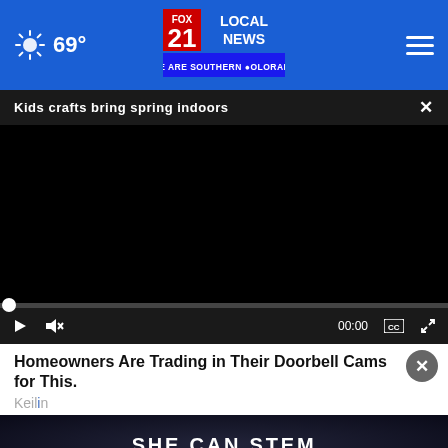69° FOX 21 LOCAL NEWS WE ARE SOUTHERN COLORADO
Kids crafts bring spring indoors
[Figure (screenshot): Black video player area, currently showing no content (black screen)]
00:00
Homeowners Are Trading in Their Doorbell Cams for This.
Keil...
[Figure (infographic): SHE CAN STEM advertisement banner with bold white text on dark background]